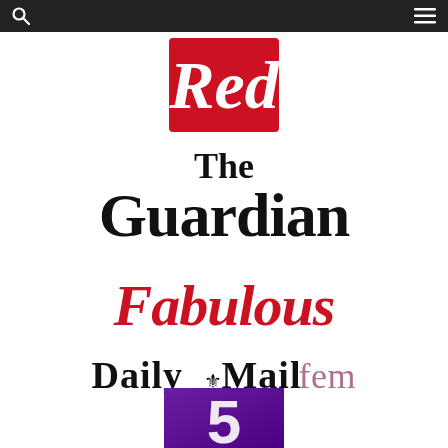[Figure (logo): Dark top navigation bar with search icon (magnifying glass) on the left and hamburger menu icon on the right, white icons on dark background]
[Figure (logo): Red magazine logo — white cursive 'Red' text on red square background]
[Figure (logo): The Guardian newspaper logo in bold serif font, black text, two lines: 'The' and 'Guardian']
[Figure (logo): Fabulous magazine logo in red italic/script bold serif font]
[Figure (logo): Daily Mail femail logo — 'Daily Mail' in blackletter with royal crest, followed by 'femail' in light purple serif]
[Figure (logo): Channel 5 logo — purple/gradient background with large white numeral 5 with diagonal slash style, partially visible at bottom]